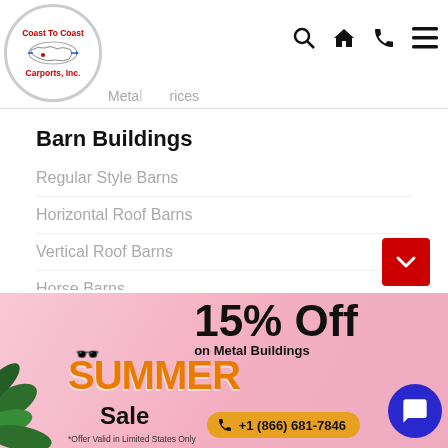[Figure (logo): Coast To Coast Carports, Inc. logo — circular badge with red text and US map outline]
Metal Building Prices
Barn Buildings
Regular Style Barns
Horizontal Roof Barns
Vertical Roof Barns
Horse Barns
Gambrel Barns
Raised Center Barns
Straight Roof Barns
[Figure (infographic): Summer Sale banner — 15% Off on Metal Buildings, +1 (866) 681-7846, *Offer Valid in Limited States Only]